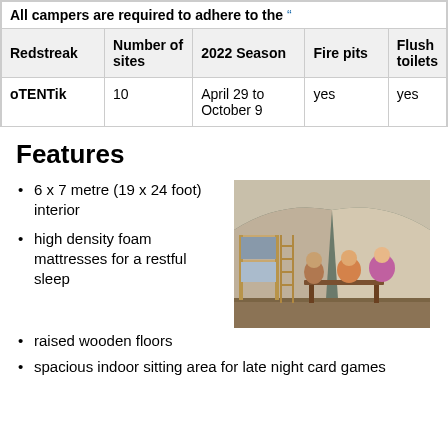| Redstreak | Number of sites | 2022 Season | Fire pits | Flush toilets |
| --- | --- | --- | --- | --- |
| oTENTik | 10 | April 29 to October 9 | yes | yes |
Features
6 x 7 metre (19 x 24 foot) interior
high density foam mattresses for a restful sleep
[Figure (photo): Interior of an oTENTik tent showing bunk beds, a table, and people sitting around it on a wooden floor]
raised wooden floors
spacious indoor sitting area for late night card games